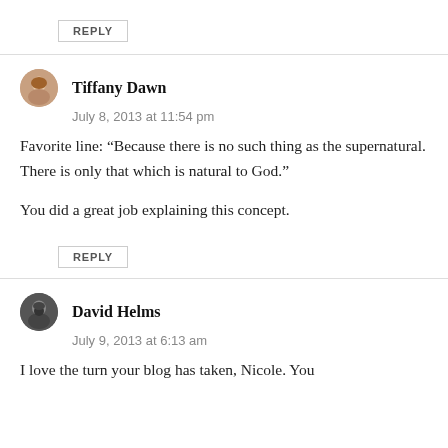REPLY
Tiffany Dawn
July 8, 2013 at 11:54 pm
Favorite line: “Because there is no such thing as the supernatural. There is only that which is natural to God.”
You did a great job explaining this concept.
REPLY
David Helms
July 9, 2013 at 6:13 am
I love the turn your blog has taken, Nicole. You